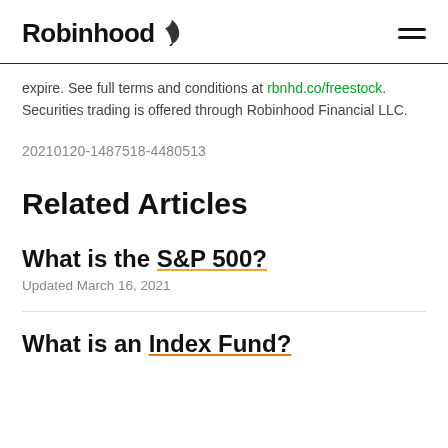Robinhood
expire. See full terms and conditions at rbnhd.co/freestock. Securities trading is offered through Robinhood Financial LLC.
20210120-1487518-4480513
Related Articles
What is the S&P 500?
Updated March 16, 2021
What is an Index Fund?